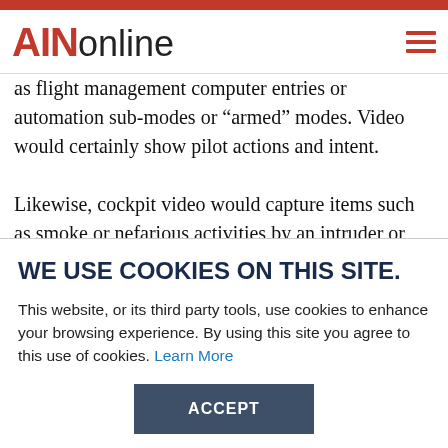AINonline
as flight management computer entries or automation sub-modes or “armed” modes. Video would certainly show pilot actions and intent.
Likewise, cockpit video would capture items such as smoke or nefarious activities by an intruder or operating crewmember. In addition, investigators could build a
WE USE COOKIES ON THIS SITE.
This website, or its third party tools, use cookies to enhance your browsing experience. By using this site you agree to this use of cookies. Learn More
ACCEPT